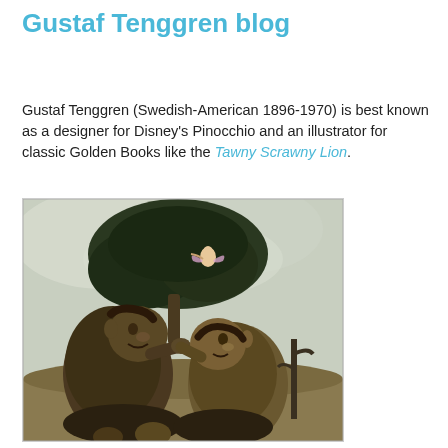Gustaf Tenggren blog
Gustaf Tenggren (Swedish-American 1896-1970) is best known as a designer for Disney's Pinocchio and an illustrator for classic Golden Books like the Tawny Scrawny Lion.
[Figure (illustration): Vintage illustration showing two large troll-like creatures facing each other in the lower portion, with a small fairy or sprite figure perched in a dark tree in the upper portion. The image has a muted, aged color palette typical of early 20th century book illustration.]